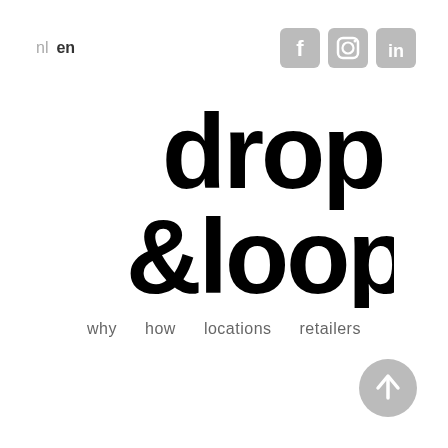nl  en
[Figure (logo): Social media icons: Facebook, Instagram, LinkedIn — grey rounded square buttons]
drop &loop
why  how  locations  retailers
[Figure (illustration): Grey circular scroll-to-top arrow button in bottom right corner]